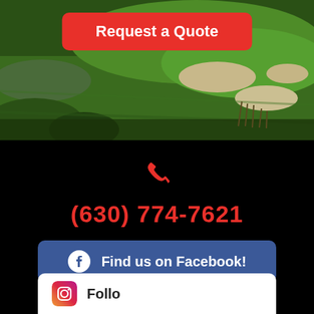[Figure (photo): Aerial view of a golf course with green fairways and sand bunkers]
Request a Quote
(630) 774-7621
Find us on Facebook!
Follo...